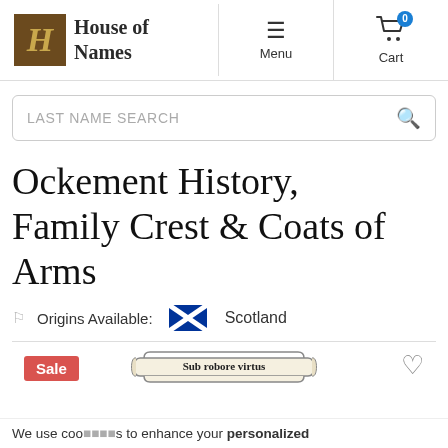House of Names — Menu | Cart 0
LAST NAME SEARCH
Ockement History, Family Crest & Coats of Arms
Origins Available: Scotland
[Figure (illustration): Scroll banner with text 'Sub robore virtus']
Sale
We use cookies to enhance your personalized